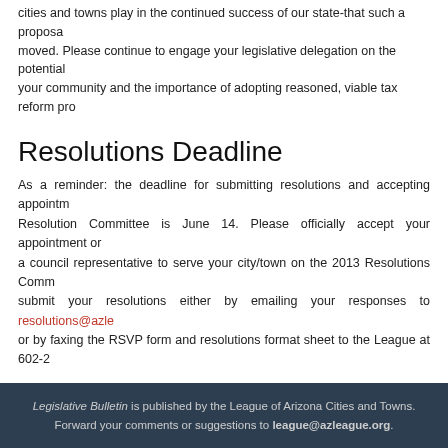cities and towns play in the continued success of our state-that such a proposal moved. Please continue to engage your legislative delegation on the potential your community and the importance of adopting reasoned, viable tax reform pro
Resolutions Deadline
As a reminder: the deadline for submitting resolutions and accepting appointments Resolution Committee is June 14. Please officially accept your appointment or a council representative to serve your city/town on the 2013 Resolutions Committee submit your resolutions either by emailing your responses to resolutions@azle or by faxing the RSVP form and resolutions format sheet to the League at 602-2
Other Bills of Note
(All bills being actively monitored by the League can be found here.)
Bill Number - Short Title - Subject(s)
No bills of note.
Legislative Bulletin is published by the League of Arizona Cities and Towns. Forward your comments or suggestions to league@azleague.org.